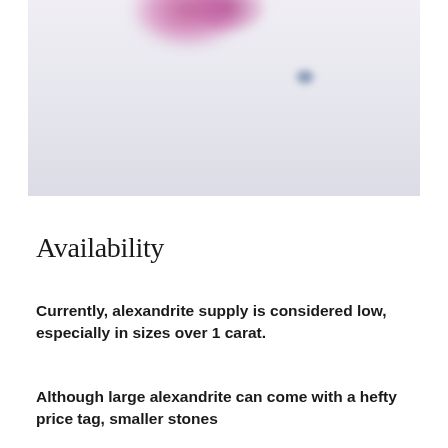[Figure (photo): Blurred/soft-focus photograph of what appears to be alexandrite gemstones, showing a pink/magenta blur in the upper portion and a small blue-gray dot to the right, against a light gray-blue background.]
Availability
Currently, alexandrite supply is considered low, especially in sizes over 1 carat.
Although large alexandrite can come with a hefty price tag, smaller stones